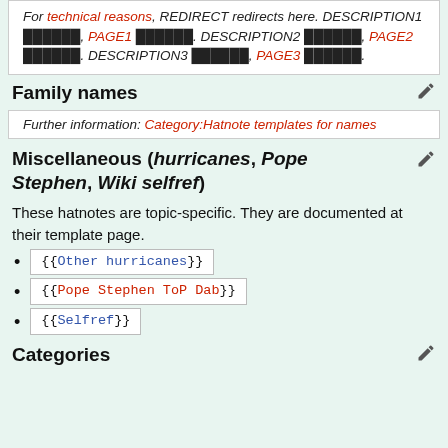For technical reasons, REDIRECT redirects here. DESCRIPTION1 ██████, PAGE1 ██████. DESCRIPTION2 ██████, PAGE2 ██████. DESCRIPTION3 ██████, PAGE3 ██████.
Family names
Further information: Category:Hatnote templates for names
Miscellaneous (hurricanes, Pope Stephen, Wiki selfref)
These hatnotes are topic-specific. They are documented at their template page.
{{Other hurricanes}}
{{Pope Stephen ToP Dab}}
{{Selfref}}
Categories